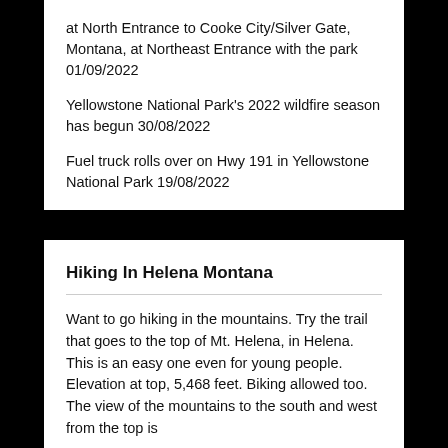at North Entrance to Cooke City/Silver Gate, Montana, at Northeast Entrance with the park 01/09/2022
Yellowstone National Park's 2022 wildfire season has begun 30/08/2022
Fuel truck rolls over on Hwy 191 in Yellowstone National Park 19/08/2022
Hiking In Helena Montana
Want to go hiking in the mountains. Try the trail that goes to the top of Mt. Helena, in Helena. This is an easy one even for young people. Elevation at top, 5,468 feet. Biking allowed too. The view of the mountains to the south and west from the top is